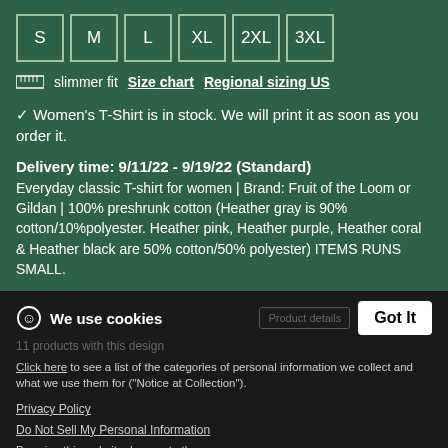S  M  L  XL  2XL  3XL (size options)
slimmer fit  Size chart  Regional sizing US
✓ Women's T-Shirt is in stock. We will print it as soon as you order it.
Delivery time: 9/11/22 - 9/19/22 (Standard)
Everyday classic T-shirt for women | Brand: Fruit of the Loom or Gildan | 100% preshrunk cotton (Heather gray is 90% cotton/10%polyester. Heather pink, Heather purple, Heather coral & Heather black are 50% cotton/50% polyester) ITEMS RUNS SMALL.
We use cookies
Click here to see a list of the categories of personal information we collect and what we use them for ("Notice at Collection").
Privacy Policy
Do Not Sell My Personal Information
By using this website, I agree to the Terms and Conditions